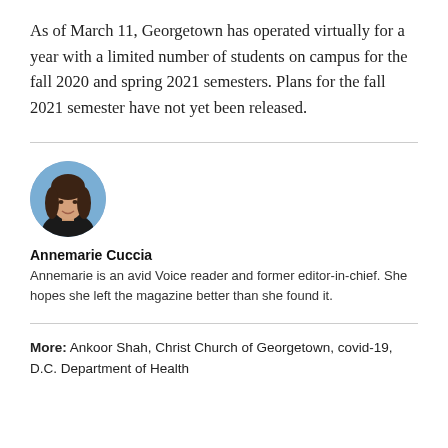As of March 11, Georgetown has operated virtually for a year with a limited number of students on campus for the fall 2020 and spring 2021 semesters. Plans for the fall 2021 semester have not yet been released.
[Figure (photo): Circular profile photo of Annemarie Cuccia, a young woman with long brown hair, smiling, with a blue background.]
Annemarie Cuccia
Annemarie is an avid Voice reader and former editor-in-chief. She hopes she left the magazine better than she found it.
More: Ankoor Shah, Christ Church of Georgetown, covid-19, D.C. Department of Health